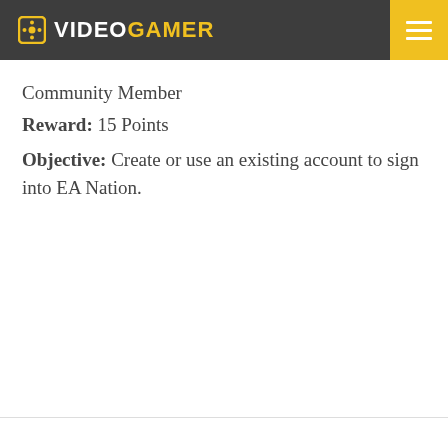VideoGamer
Community Member
Reward: 15 Points
Objective: Create or use an existing account to sign into EA Nation.